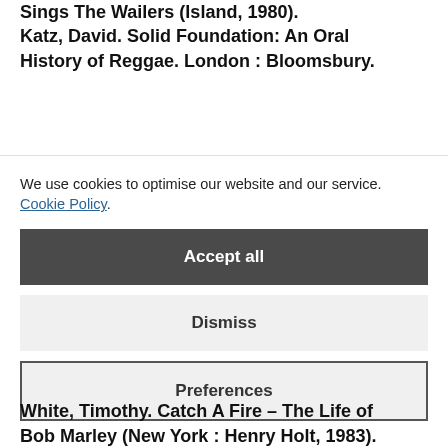Sings The Wailers (Island, 1980). Katz, David. Solid Foundation: An Oral History of Reggae. London : Bloomsbury.
We use cookies to optimise our website and our service. Cookie Policy
Accept all
Dismiss
Preferences
White, Timothy. Catch A Fire – The Life of Bob Marley (New York : Henry Holt, 1983).